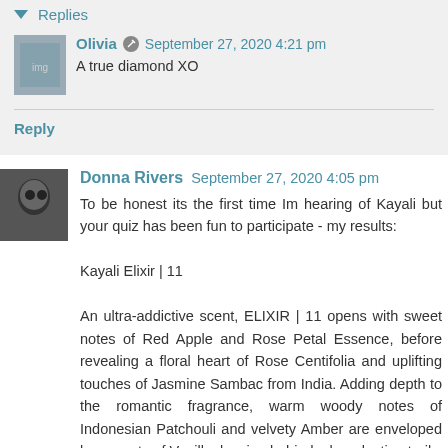▼ Replies
Olivia  September 27, 2020 4:21 pm
A true diamond XO
Reply
Donna Rivers  September 27, 2020 4:05 pm
To be honest its the first time Im hearing of Kayali but your quiz has been fun to participate - my results:

Kayali Elixir | 11

An ultra-addictive scent, ELIXIR | 11 opens with sweet notes of Red Apple and Rose Petal Essence, before revealing a floral heart of Rose Centifolia and uplifting touches of Jasmine Sambac from India. Adding depth to the romantic fragrance, warm woody notes of Indonesian Patchouli and velvety Amber are enveloped by accents of Vanilla, leaving behind a long-lasting trail.